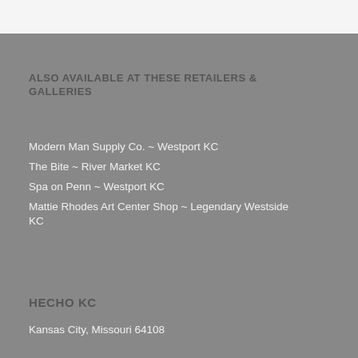ALSO AVAILABLE AT THESE RETAILERS & GALLERIES
Modern Man Supply Co. ~ Westport KC
The Bite ~ River Market KC
Spa on Penn ~ Westport KC
Mattie Rhodes Art Center Shop ~ Legendary Westside KC
HECHO KC
Kansas City, Missouri 64108